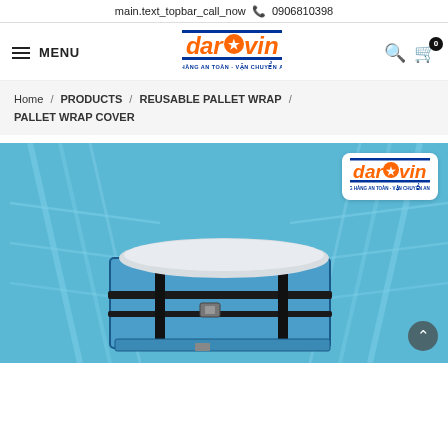main.text_topbar_call_now  0906810398
[Figure (logo): Daravin logo with orange italic text, star icon, blue underline, and tagline NÂNG HÀNG AN TOÀN - VẬN CHUYỂN AN TÂM]
≡ MENU
Home / PRODUCTS / REUSABLE PALLET WRAP / PALLET WRAP COVER
[Figure (photo): Product photo of a pallet wrap cover bag (blue and white) on a pallet in a warehouse setting. Daravin logo overlay in top-right corner.]